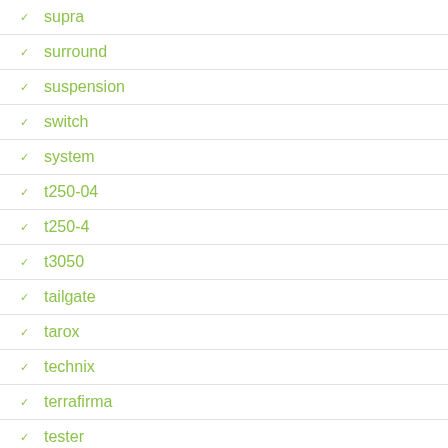supra
surround
suspension
switch
system
t250-04
t250-4
t3050
tailgate
tarox
technix
terrafirma
tester
tf302